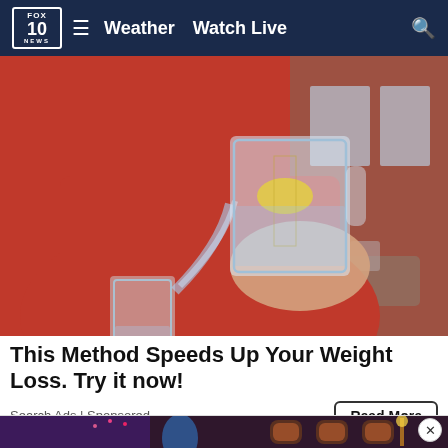FOX 10 NEWS — Weather  Watch Live
[Figure (photo): Person in red sweater pouring water with lemon slice from a pitcher into a glass]
This Method Speeds Up Your Weight Loss. Try it now!
Search Ads | Sponsored
[Figure (photo): Night-time exterior shot of a brick building with arched windows lit in purple/red light]